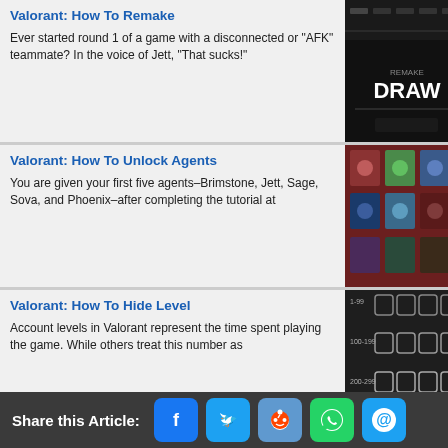Valorant: How To Remake
Ever started round 1 of a game with a disconnected or “AFK” teammate? In the voice of Jett, “That sucks!”
[Figure (screenshot): Valorant game screenshot showing REMAKE DRAW screen in black background]
Valorant: How To Unlock Agents
You are given your first five agents–Brimstone, Jett, Sage, Sova, and Phoenix–after completing the tutorial at
[Figure (screenshot): Valorant agent select screen showing character portraits on red background]
Valorant: How To Hide Level
Account levels in Valorant represent the time spent playing the game. While others treat this number as
[Figure (screenshot): Valorant level badges grid showing numbered badge icons]
[Top 10] SFV Most Played Characters Loved By Millions Worldwide
[Figure (screenshot): Street Fighter V character screenshot showing muscular fighter outdoors]
Share this Article: